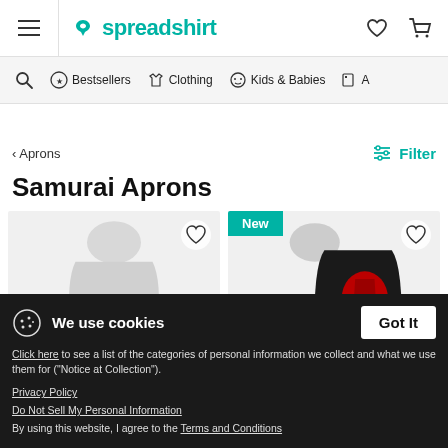spreadshirt — navigation header with hamburger menu, logo, wishlist and cart icons
Bestsellers | Clothing | Kids & Babies | A...
< Aprons
Filter
Samurai Aprons
[Figure (screenshot): Two product cards showing aprons — left card: plain light-colored apron with heart/wishlist icon; right card: black apron with red graphic, labeled 'New' badge, with heart/wishlist icon]
We use cookies
Got It
Click here to see a list of the categories of personal information we collect and what we use them for ("Notice at Collection").
Privacy Policy
Do Not Sell My Personal Information
By using this website, I agree to the Terms and Conditions